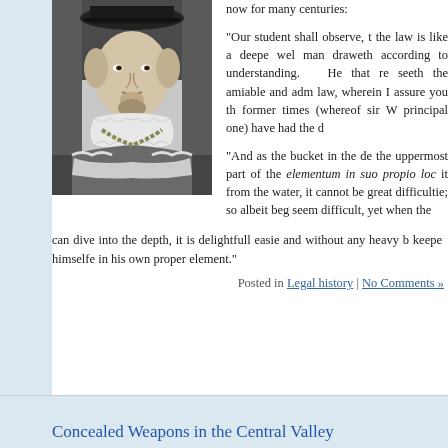[Figure (photo): Black and white portrait of a historical figure wearing a flat cap, ruff collar, and ornate robes with a chain of office]
now for many centuries:

"Our student shall observe, that the law is like a deepe wel, every man draweth according to his understanding. He that re- seeth the amiable and adm- law, wherein I assure you the former times (whereof sir W- principal one) have had the d-

"And as the bucket in the dep- the uppermost part of the elementum in suo propio loc- it from the water, it cannot be great difficultie; so albeit beg- seem difficult, yet when the can dive into the depth, it is delightfull easie and without any heavy b- keepe himselfe in his own proper element."
Posted in Legal history | No Comments »
Concealed Weapons in the Central Valley